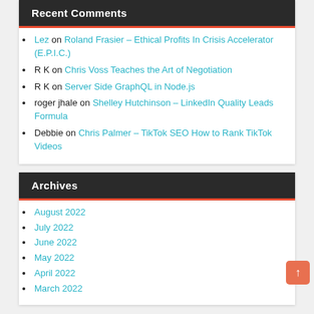Recent Comments
Lez on Roland Frasier - Ethical Profits In Crisis Accelerator (E.P.I.C.)
R K on Chris Voss Teaches the Art of Negotiation
R K on Server Side GraphQL in Node.js
roger jhale on Shelley Hutchinson - LinkedIn Quality Leads Formula
Debbie on Chris Palmer - TikTok SEO How to Rank TikTok Videos
Archives
August 2022
July 2022
June 2022
May 2022
April 2022